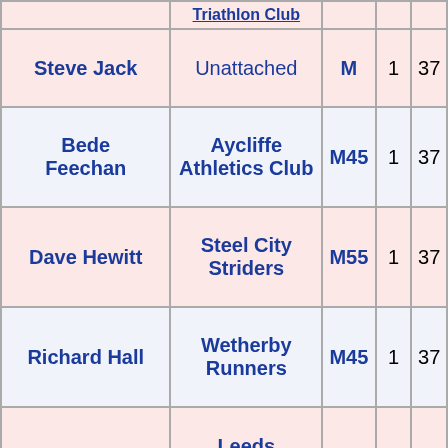| Name | Club | Cat |  |  |
| --- | --- | --- | --- | --- |
| Steve Jack | Unattached | M | 1 | 37 |
| Bede Feechan | Aycliffe Athletics Club | M45 | 1 | 37 |
| Dave Hewitt | Steel City Striders | M55 | 1 | 37 |
| Richard Hall | Wetherby Runners | M45 | 1 | 37 |
| Andy Coombs | Leeds Bradford Triathlon Club | M45 | 1 | 37 |
| Wendy Jones | Aire Valley Runners | F40 | 1 | 37 |
| Claire Fowler | Unattached | F | 1 | 37 |